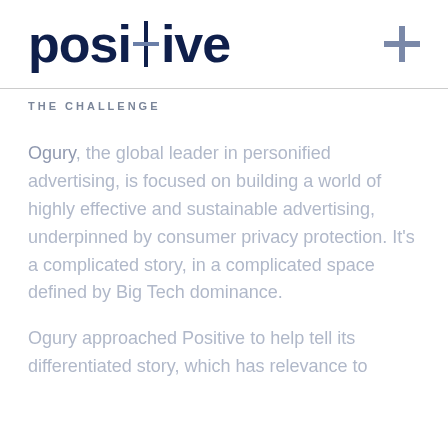positive +
THE CHALLENGE
Ogury, the global leader in personified advertising, is focused on building a world of highly effective and sustainable advertising, underpinned by consumer privacy protection. It's a complicated story, in a complicated space defined by Big Tech dominance.
Ogury approached Positive to help tell its differentiated story, which has relevance to